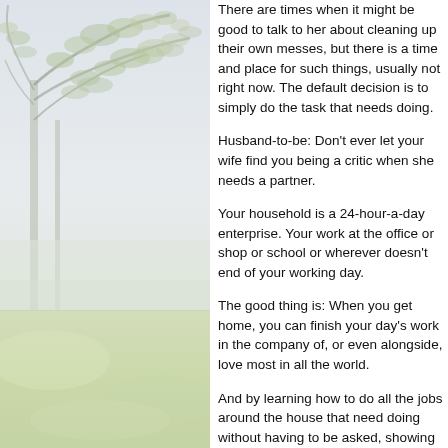[Figure (photo): Left side of page: upper portion shows a misty/foggy scene with tree branches and leaves against a pale grey-white sky. Lower portion shows a light green grassy or mossy ground texture.]
There are times when it might be good to talk to her about cleaning up their own messes, but there is a time and place for such things, usually not right now. The default decision is to simply do the task that needs doing.
Husband-to-be: Don't ever let your wife find you being a critic when she needs a partner.
Your household is a 24-hour-a-day enterprise. Your work at the office or shop or school or wherever doesn't end of your working day.
The good thing is: When you get home, you can finish your day's work in the company of, or even alongside, love most in all the world.
And by learning how to do all the jobs around the house that need doing without having to be asked, showing her that she has an equal partner in this enterprise, knows how hard she works because he's right there with her.
Then, when the household tasks are done for the day, you'll have a few minutes to watch a television show, a game of Ticket to Ride, or lie in bed w